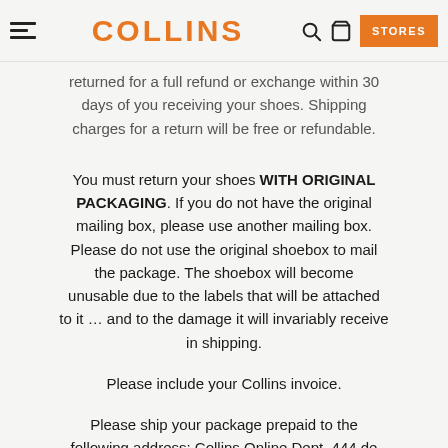COLLINS
returned for a full refund or exchange within 30 days of you receiving your shoes. Shipping charges for a return will be free or refundable.
You must return your shoes WITH ORIGINAL PACKAGING. If you do not have the original mailing box, please use another mailing box. Please do not use the original shoebox to mail the package. The shoebox will become unusable due to the labels that will be attached to it ... and to the damage it will invariably receive in shipping.
Please include your Collins invoice.
Please ship your package prepaid to the following address: Collins Online Dept. 444 de LaSalle Avenue, Montréal, QC  H1V 2J1.